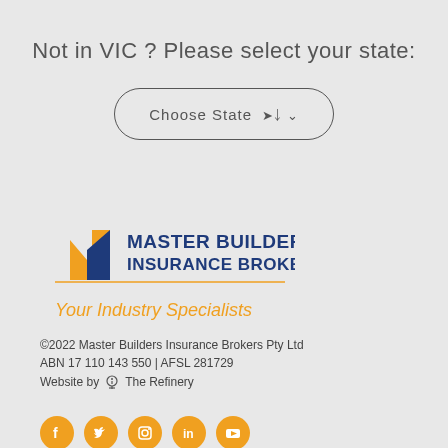Not in VIC ? Please select your state:
[Figure (other): Dropdown button labeled 'Choose State' with a chevron arrow, inside a rounded rectangle border]
[Figure (logo): Master Builders Insurance Brokers logo with orange and blue geometric house/building shapes icon on the left and bold blue text 'MASTER BUILDERS INSURANCE BROKERS' on the right, with an orange horizontal line beneath]
Your Industry Specialists
©2022 Master Builders Insurance Brokers Pty Ltd
ABN 17 110 143 550 | AFSL 281729
Website by 💡 The Refinery
[Figure (other): Five orange circular social media icons: Facebook, Twitter, Instagram, LinkedIn, YouTube]